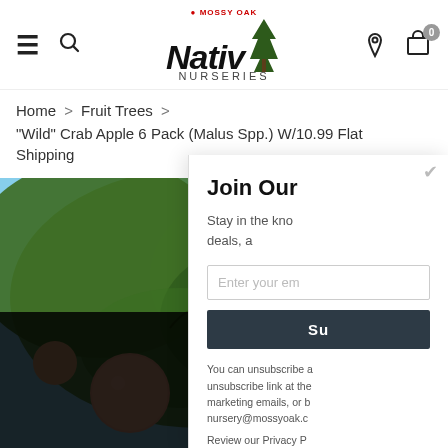Mossy Oak Nativ Nurseries — site header with navigation icons and logo
Home > Fruit Trees >
"Wild" Crab Apple 6 Pack (Malus Spp.) W/10.99 Flat Shipping
[Figure (photo): Close-up photograph of crab apple tree branches with green leaves and red/peach crab apples against a blue sky]
The cookie settings on this website are set to 'allow all cookies' to give you the very best experience. Please click Accept Cookies to continue to use the site.
PRIVACY POLICY   ACCEPT
Join Our
Stay in the know deals, a
Enter your em
Su
You can unsubscribe at any time. unsubscribe link at the bottom of marketing emails, or by emailing nursery@mossyoak.c
Review our Privacy P